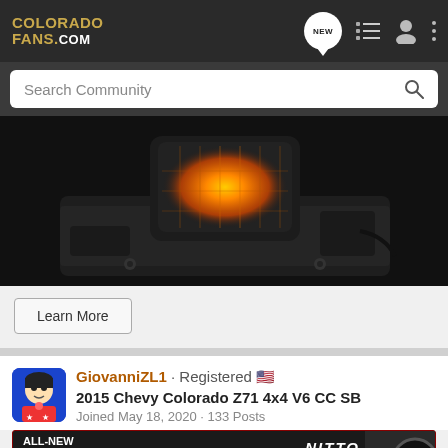COLORADO FANS .COM
Search Community
[Figure (photo): Close-up photo of an amber/orange off-road vehicle light mounted on black metal hardware against a dark background]
Learn More
GiovanniZL1 · Registered 🇺🇸
2015 Chevy Colorado Z71 4x4 V6 CC SB
Joined May 18, 2020 · 133 Posts
[Figure (screenshot): Advertisement banner: ALL-NEW NOMAD GRAPPLER CROSSOVER-TERRAIN TIRE with NITTO logo, showing tire and vehicle]
#16 · Jul